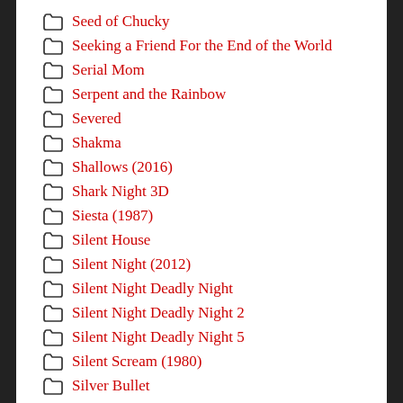Seed of Chucky
Seeking a Friend For the End of the World
Serial Mom
Serpent and the Rainbow
Severed
Shakma
Shallows (2016)
Shark Night 3D
Siesta (1987)
Silent House
Silent Night (2012)
Silent Night Deadly Night
Silent Night Deadly Night 2
Silent Night Deadly Night 5
Silent Scream (1980)
Silver Bullet